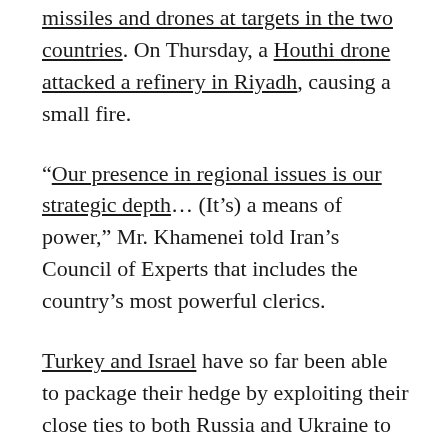missiles and drones at targets in the two countries. On Thursday, a Houthi drone attacked a refinery in Riyadh, causing a small fire.
“Our presence in regional issues is our strategic depth… (It’s) a means of power,” Mr. Khamenei told Iran’s Council of Experts that includes the country’s most powerful clerics.
Turkey and Israel have so far been able to package their hedge by exploiting their close ties to both Russia and Ukraine to play the role of mediator even if mediation at this stage of the war has little if any chance of success.
By contrast, Saudi Arabia and the UAE find themselves far more exposed and in the ironic position of sharing a host with their nemeses, Iran and its Lebanese ally